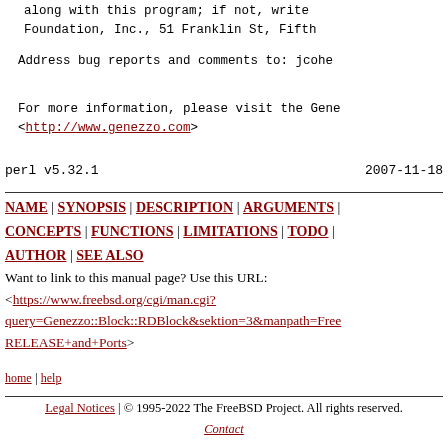along with this program; if not, write
Foundation, Inc., 51 Franklin St, Fifth
Address bug reports and comments to: jcohe
For more information, please visit the Gene
<http://www.genezzo.com>
perl v5.32.1    2007-11-18
NAME | SYNOPSIS | DESCRIPTION | ARGUMENTS | CONCEPTS | FUNCTIONS | LIMITATIONS | TODO | AUTHOR | SEE ALSO
Want to link to this manual page? Use this URL:
<https://www.freebsd.org/cgi/man.cgi?query=Genezzo::Block::RDBlock&sektion=3&manpath=FreeBSD+RELEASE+and+Ports>
home | help
Legal Notices | © 1995-2022 The FreeBSD Project. All rights reserved.
Contact